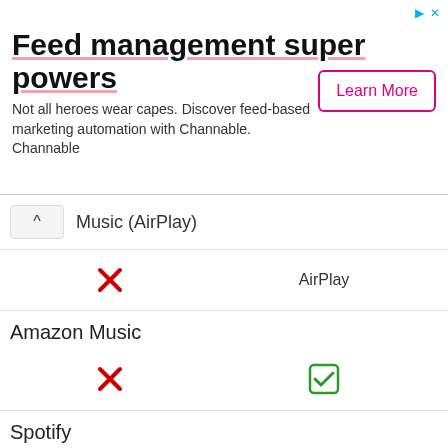[Figure (screenshot): Advertisement banner for Channable feed management tool with 'Learn More' button]
Music (AirPlay)
|  | AirPlay |
| --- | --- |
| ✗ | AirPlay |
Amazon Music
|  |  |
| --- | --- |
| ✗ | ✓ |
Spotify
|  |  |
| --- | --- |
| ✓ | ✓ |
Other streaming services
has not    Pandora, TuneIn, Deezer, Chromecast